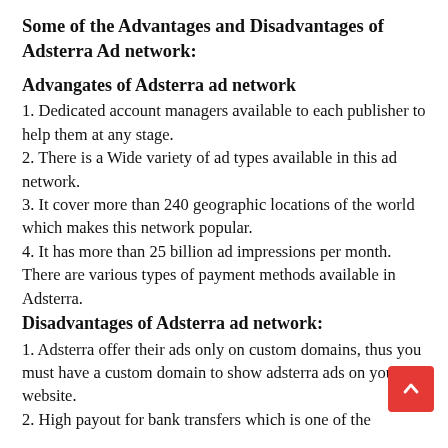Some of the Advantages and Disadvantages of Adsterra Ad network:
Advangates of Adsterra ad network
1. Dedicated account managers available to each publisher to help them at any stage.
2. There is a Wide variety of ad types available in this ad network.
3. It cover more than 240 geographic locations of the world which makes this network popular.
4. It has more than 25 billion ad impressions per month. There are various types of payment methods available in Adsterra.
Disadvantages of Adsterra ad network:
1. Adsterra offer their ads only on custom domains, thus you must have a custom domain to show adsterra ads on your website.
2. High payout for bank transfers which is one of the